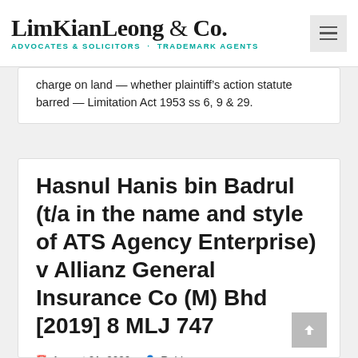LimKianLeong & Co. — Advocates & Solicitors · Trademark Agents
charge on land — whether plaintiff's action statute barred — Limitation Act 1953 ss 6, 9 & 29.
Hasnul Hanis bin Badrul (t/a in the name and style of ATS Agency Enterprise) v Allianz General Insurance Co (M) Bhd [2019] 8 MLJ 747
August 21, 2020   Robin